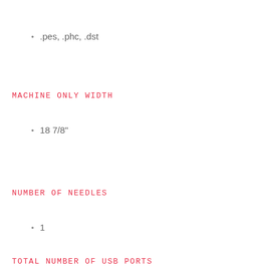.pes, .phc, .dst
MACHINE ONLY WIDTH
18 7/8"
NUMBER OF NEEDLES
1
TOTAL NUMBER OF USB PORTS